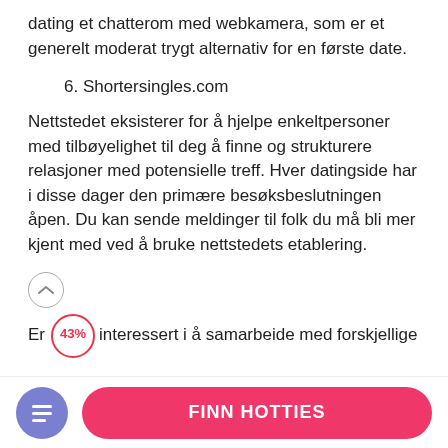dating et chatterom med webkamera, som er et generelt moderat trygt alternativ for en første date.
6. Shortersingles.com
Nettstedet eksisterer for å hjelpe enkeltpersoner med tilbøyelighet til deg å finne og strukturere relasjoner med potensielle treff. Hver datingside har i disse dager den primære besøksbeslutningen åpen. Du kan sende meldinger til folk du må bli mer kjent med ved å bruke nettstedets etablering.
Er du interessert i å samarbeide med forskjellige her på nettstedet og bli mer kjent med dem? Oppløftende nyheter, det er enkelt. Bruk
FINN HOTTIES